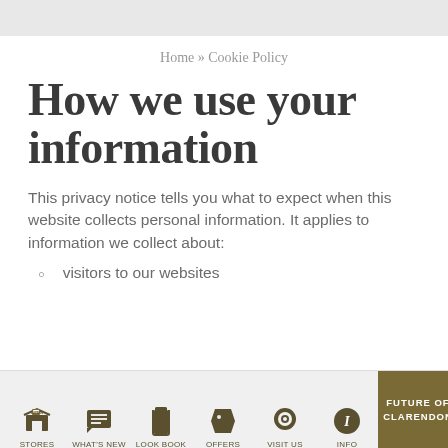Home » Cookie Policy
How we use your information
This privacy notice tells you what to expect when this website collects personal information. It applies to information we collect about:
visitors to our websites
STORES | WHAT'S NEW | LOOK BOOK | OFFERS | VISIT US | INFO | FUTURE OF CLARENDON